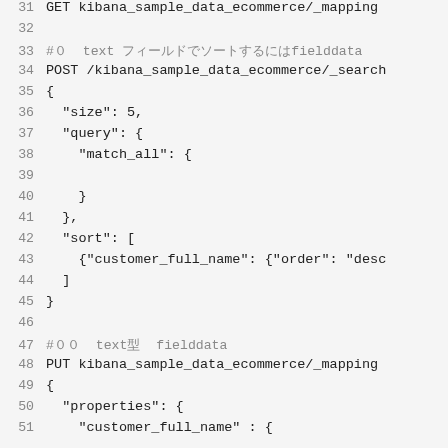31  GET kibana_sample_data_ecommerce/_mapping
32
33  #０ text フィールドでソートするにはfielddata
34  POST /kibana_sample_data_ecommerce/_search
35  {
36    "size": 5,
37    "query": {
38      "match_all": {
39
40      }
41    },
42    "sort": [
43      {"customer_full_name": {"order": "desc
44    ]
45  }
46
47  #００ textで fielddata
48  PUT kibana_sample_data_ecommerce/_mapping
49  {
50    "properties": {
51      "customer_full_name": {